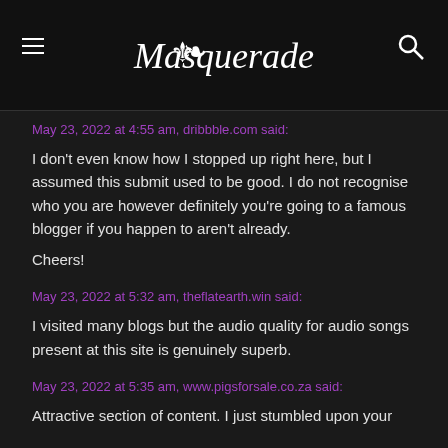Masquerade
May 23, 2022 at 4:55 am, dribbble.com said:
I don't even know how I stopped up right here, but I assumed this submit used to be good. I do not recognise who you are however definitely you're going to a famous blogger if you happen to aren't already.

Cheers!
May 23, 2022 at 5:32 am, theflatearth.win said:
I visited many blogs but the audio quality for audio songs present at this site is genuinely superb.
May 23, 2022 at 5:35 am, www.pigsforsale.co.za said:
Attractive section of content. I just stumbled upon your